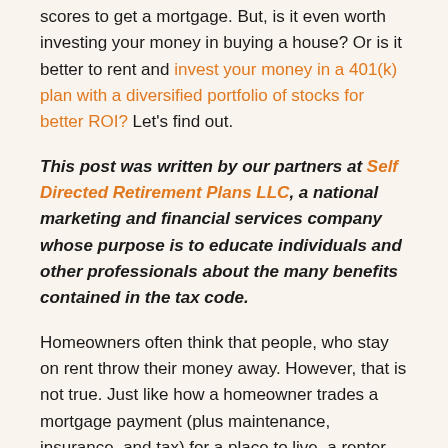scores to get a mortgage. But, is it even worth investing your money in buying a house? Or is it better to rent and invest your money in a 401(k) plan with a diversified portfolio of stocks for better ROI? Let's find out.
This post was written by our partners at Self Directed Retirement Plans LLC, a national marketing and financial services company whose purpose is to educate individuals and other professionals about the many benefits contained in the tax code.
Homeowners often think that people, who stay on rent throw their money away. However, that is not true. Just like how a homeowner trades a mortgage payment (plus maintenance, insurance, and tax) for a place to live, a renter